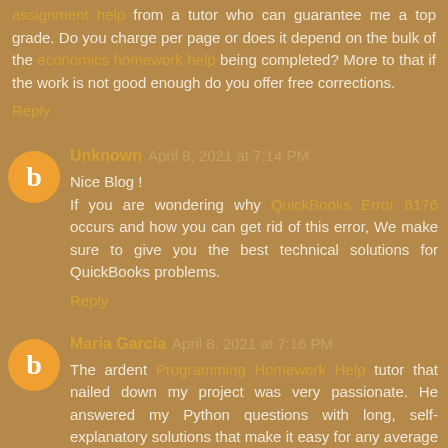assignment help from a tutor who can guarantee me a top grade. Do you charge per page or does it depend on the bulk of the economics homework help being completed? More to that if the work is not good enough do you offer free corrections.
Reply
Unknown  April 8, 2021 at 7:14 PM
Nice Blog ! If you are wondering why QuickBooks Error 6176 occurs and how you can get rid of this error, We make sure to give you the best technical solutions for QuickBooks problems.
Reply
Maria Garcia  April 8, 2021 at 7:16 PM
The ardent Programming Homework Help tutor that nailed down my project was very passionate. He answered my Python questions with long, self-explanatory solutions that make it easy for any average student to revise. Moreover